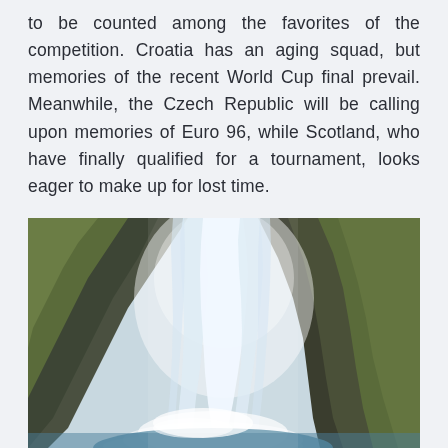to be counted among the favorites of the competition. Croatia has an aging squad, but memories of the recent World Cup final prevail. Meanwhile, the Czech Republic will be calling upon memories of Euro 96, while Scotland, who have finally qualified for a tournament, looks eager to make up for lost time.
[Figure (photo): A large waterfall cascading down rocky cliffs covered in green moss and vegetation, with mist rising from the base where water meets a rocky pool. The waterfall appears to be in a lush natural setting, possibly Seljalandsfoss or similar Icelandic waterfall.]